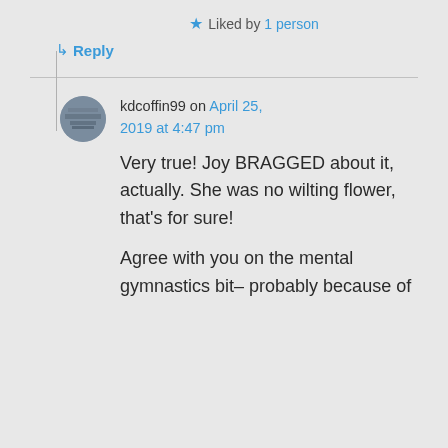★ Liked by 1 person
↳ Reply
kdcoffin99 on April 25, 2019 at 4:47 pm
Very true! Joy BRAGGED about it, actually. She was no wilting flower, that's for sure!

Agree with you on the mental gymnastics bit– probably because of